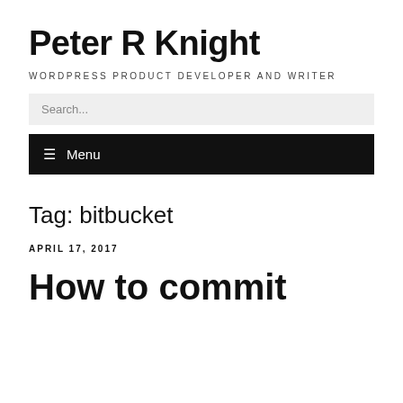Peter R Knight
WORDPRESS PRODUCT DEVELOPER AND WRITER
Search...
☰ Menu
Tag: bitbucket
APRIL 17, 2017
How to commit